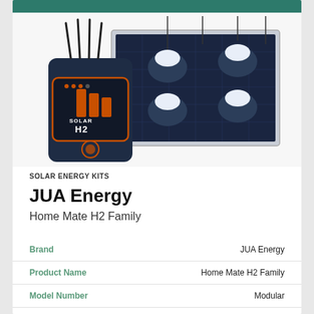[Figure (photo): Product photo of JUA Energy Home Mate H2 solar energy kit showing a dark power unit/battery box with 'SOLAR H2' branding and orange indicators, connected cables going up, alongside a solar panel with four hanging LED pendant lights attached.]
SOLAR ENERGY KITS
JUA Energy
Home Mate H2 Family
| Attribute | Value |
| --- | --- |
| Brand | JUA Energy |
| Product Name | Home Mate H2 Family |
| Model Number | Modular |
| PV Module Maximum Power [W] | N/A |